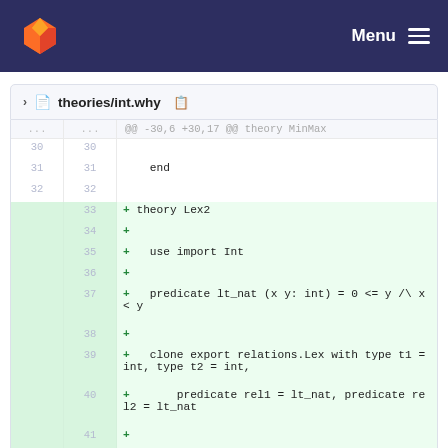Menu
theories/int.why
@@ -30,6 +30,17 @@ theory MinMax
30  30
31  31    end
32  32
    33  + theory Lex2
    34  +
    35  +    use import Int
    36  +
    37  +    predicate lt_nat (x y: int) = 0 <= y /\ x < y
    38  +
    39  +    clone export relations.Lex with type t1 = int, type t2 = int,
    40  +        predicate rel1 = lt_nat, predicate rel2 = lt_nat
    41  +
    42  + end